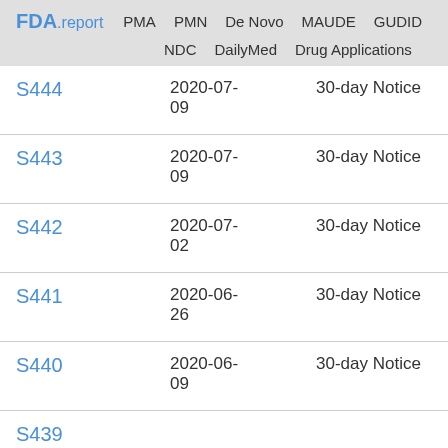FDA.report   PMA   PMN   De Novo   MAUDE   GUDID   NDC   DailyMed   Drug Applications
| ID | Date | Type |
| --- | --- | --- |
| S444 | 2020-07-09 | 30-day Notice |
| S443 | 2020-07-09 | 30-day Notice |
| S442 | 2020-07-02 | 30-day Notice |
| S441 | 2020-06-26 | 30-day Notice |
| S440 | 2020-06-09 | 30-day Notice |
| S439 |  |  |
| S438 |  |  |